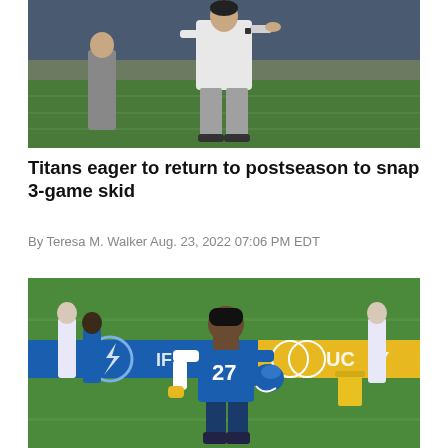[Figure (photo): A coach or person in a white shirt and gray pants pointing on a football field sideline, stadium seating visible in the background.]
Titans eager to return to postseason to snap 3-game skid
By Teresa M. Walker Aug. 23, 2022 07:06 PM EDT
[Figure (photo): A football player wearing a blue jersey with number 27 and holding a helmet stands on a practice field. Chargers branding banners are visible in the background.]